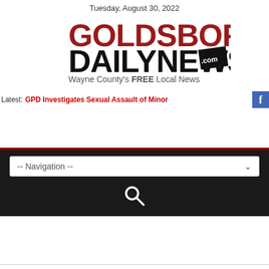Tuesday, August 30, 2022
[Figure (logo): Goldsboro Daily News logo with tagline: Wayne County's FREE Local News]
Latest: GPD Investigates Sexual Assault of Minor
[Figure (screenshot): Navigation dropdown and search icon on dark background]